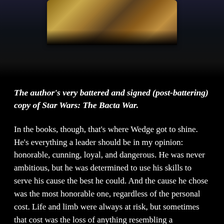[Figure (photo): A battered and signed book cover of Star Wars: The Bacta War, partially visible at top of page against a dark background.]
The author's very battered and signed (post-battering) copy of Star Wars: The Bacta War.
In the books, though, that's where Wedge got to shine. He's everything a leader should be in my opinion: honorable, cunning, loyal, and dangerous. He was never ambitious, but he was determined to use his skills to serve his cause the best he could. And the cause he chose was the most honorable one, regardless of the personal cost. Life and limb were always at risk, but sometimes that cost was the loss of anything resembling a